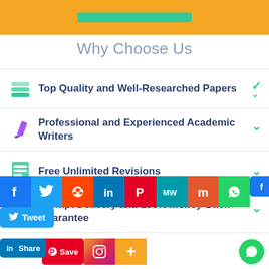[Figure (other): Top orange banner with a green button element inside]
Why Choose Us
Top Quality and Well-Researched Papers
Professional and Experienced Academic Writers
Free Unlimited Revisions
Prompt Delivery and 100% Money-Back-Guarantee
[Figure (other): Social media sharing toolbar overlay with Facebook, Twitter, Reddit, LinkedIn, Pinterest, MeWe, Mix, WhatsApp icons, and secondary Share/Tweet/Save/LinkedIn/Instagram/Plus buttons]